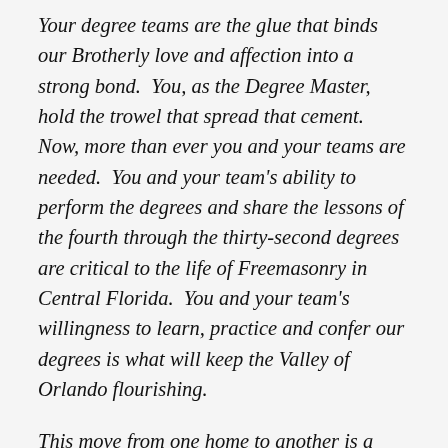Your degree teams are the glue that binds our Brotherly love and affection into a strong bond. You, as the Degree Master, hold the trowel that spread that cement. Now, more than ever you and your teams are needed. You and your team's ability to perform the degrees and share the lessons of the fourth through the thirty-second degrees are critical to the life of Freemasonry in Central Florida. You and your team's willingness to learn, practice and confer our degrees is what will keep the Valley of Orlando flourishing.
This move from one home to another is a delicate time and we, as a leadership team, must stay strong and not lose our edge at this critical point in the life of our Valley. We have been, for over a